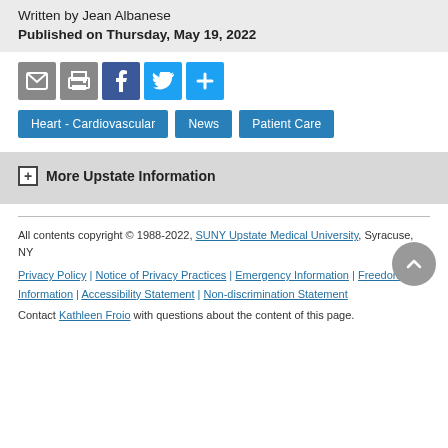Written by Jean Albanese
Published on Thursday, May 19, 2022
Heart - Cardiovascular | News | Patient Care
More Upstate Information
All contents copyright © 1988-2022, SUNY Upstate Medical University, Syracuse, NY
Privacy Policy | Notice of Privacy Practices | Emergency Information | Freedom of Information | Accessibility Statement | Non-discrimination Statement
Contact Kathleen Froio with questions about the content of this page.